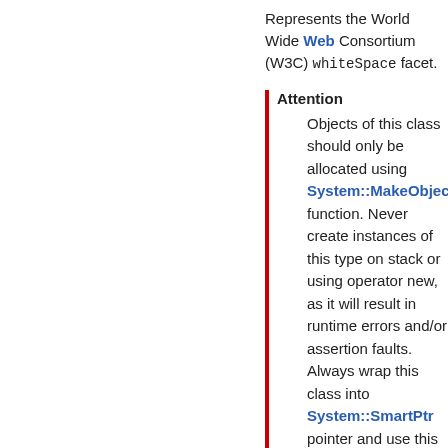Represents the World Wide Web Consortium (W3C) whiteSpace facet.
Attention
Objects of this class should only be allocated using System::MakeObject() function. Never create instances of this type on stack or using operator new, as it will result in runtime errors and/or assertion faults. Always wrap this class into System::SmartPtr pointer and use this